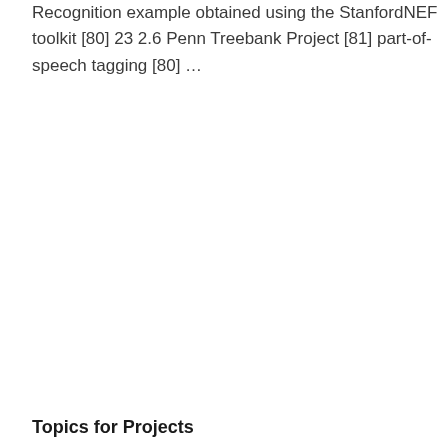Recognition example obtained using the StanfordNEF toolkit [80] 23 2.6 Penn Treebank Project [81] part-of-speech tagging [80] …
Topics for Projects